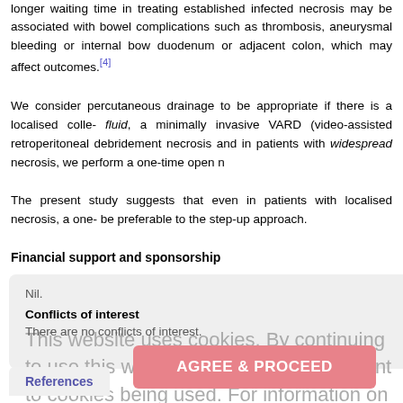longer waiting time in treating established infected necrosis may be associated with bowel complications such as thrombosis, aneurysmal bleeding or internal bowel, duodenum or adjacent colon, which may affect outcomes.[4]
We consider percutaneous drainage to be appropriate if there is a localised collection of fluid, a minimally invasive VARD (video-assisted retroperitoneal debridement) for localised necrosis and in patients with widespread necrosis, we perform a one-time open necrosectomy.
The present study suggests that even in patients with localised necrosis, a one-time necrosectomy may be preferable to the step-up approach.
Financial support and sponsorship
Nil.
Conflicts of interest
There are no conflicts of interest.
This website uses cookies. By continuing to use this website you are giving consent to cookies being used. For information on cookies and how you can disable them visit our Privacy and Cookie Policy.
AGREE & PROCEED
References